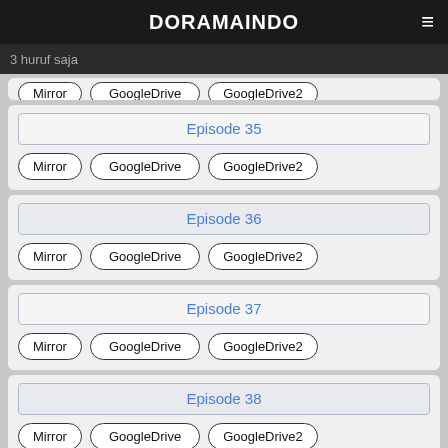DORAMAINDO
3 huruf saja
Episode 35 | Mirror | GoogleDrive | GoogleDrive2
Episode 36 | Mirror | GoogleDrive | GoogleDrive2
Episode 37 | Mirror | GoogleDrive | GoogleDrive2
Episode 38 | Mirror | GoogleDrive | GoogleDrive2
Episode 39 | Mirror | GoogleDrive | GoogleDrive2